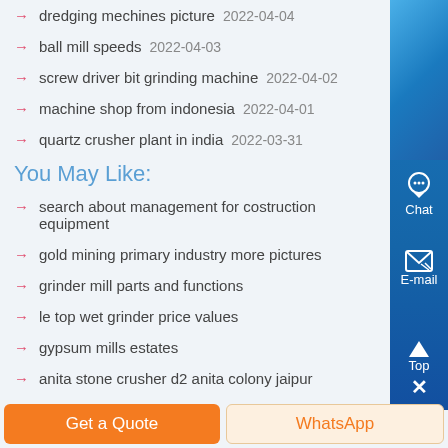dredging mechines picture  2022-04-04
ball mill speeds  2022-04-03
screw driver bit grinding machine  2022-04-02
machine shop from indonesia  2022-04-01
quartz crusher plant in india  2022-03-31
You May Like:
search about management for costruction equipment
gold mining primary industry more pictures
grinder mill parts and functions
le top wet grinder price values
gypsum mills estates
anita stone crusher d2 anita colony jaipur